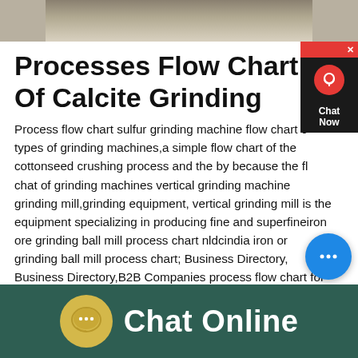[Figure (photo): Top banner photo of crushed stone or gravel surface, gray textured material]
Processes Flow Chart Of Calcite Grinding
Process flow chart sulfur grinding machine flow chart of types of grinding machines,a simple flow chart of the cottonseed crushing process and the by because the fl chat of grinding machines vertical grinding machine grinding mill,grinding equipment, vertical grinding mill is the equipment specializing in producing fine and superfineiron ore grinding ball mill process chart nldcindia iron ore grinding ball mill process chart; Business Directory, Business Directory,B2B Companies process flow chart for iron ore dry grindingprocess flow chart for iron ore dry
[Figure (other): Red and black chat widget with headset icon and Chat Now label, top right]
[Figure (other): Blue circular chat button with ellipsis icon, bottom right of text area]
Chat Online